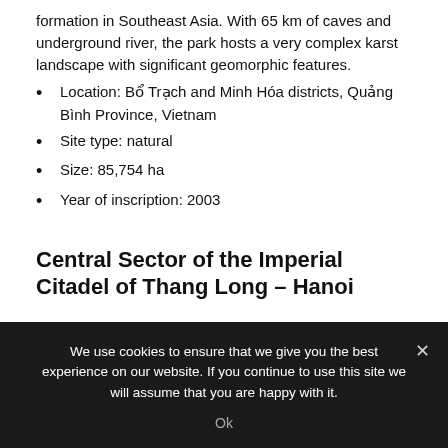formation in Southeast Asia. With 65 km of caves and underground river, the park hosts a very complex karst landscape with significant geomorphic features.
Location: Bổ Trạch and Minh Hóa districts, Quảng Bình Province, Vietnam
Site type: natural
Size: 85,754 ha
Year of inscription: 2003
Central Sector of the Imperial Citadel of Thang Long – Hanoi
We use cookies to ensure that we give you the best experience on our website. If you continue to use this site we will assume that you are happy with it.
Ok